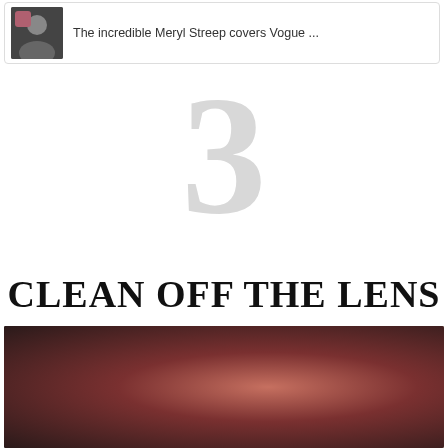The incredible Meryl Streep covers Vogue ...
3
CLEAN OFF THE LENS
[Figure (photo): Hand holding a pink smartphone taking a selfie, blurred background in red and green tones]